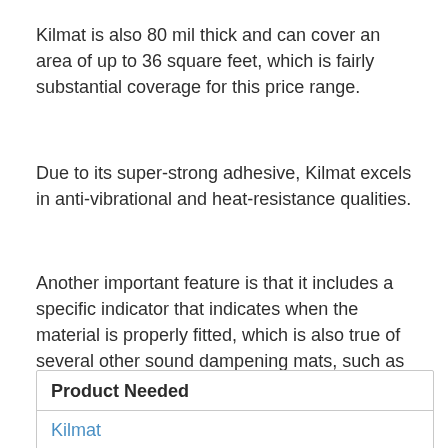Kilmat is also 80 mil thick and can cover an area of up to 36 square feet, which is fairly substantial coverage for this price range.
Due to its super-strong adhesive, Kilmat excels in anti-vibrational and heat-resistance qualities.
Another important feature is that it includes a specific indicator that indicates when the material is properly fitted, which is also true of several other sound dampening mats, such as Noico.
| Product Needed |
| --- |
| Kilmat |